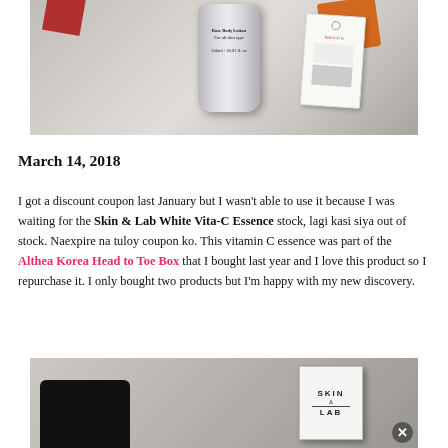[Figure (photo): Photo of a white/silver Rose Body Lotion bottle (500ml / 16.91 fl oz, for all skin types) on a flat surface with colorful shapes in background and a price tag card]
March 14, 2018
I got a discount coupon last January but I wasn't able to use it because I was waiting for the Skin & Lab White Vita-C Essence stock, lagi kasi siya out of stock. Naexpire na tuloy coupon ko. This vitamin C essence was part of the Althea Korea Head to Toe Box that I bought last year and I love this product so I repurchase it. I only bought two products but I'm happy with my new discovery.
[Figure (photo): Photo of a SKIN & LAB white product box on a surface, with a dark object in the lower left, and a close button in the lower right corner]